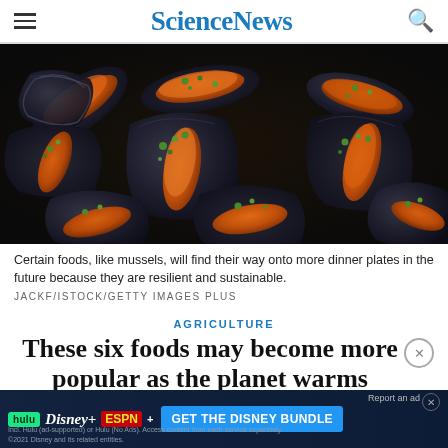ScienceNews
[Figure (photo): Close-up photo of cooked mussels in their shells, topped with chopped herbs, arranged in a dark pan.]
Certain foods, like mussels, will find their way onto more dinner plates in the future because they are resilient and sustainable.
JACKF/ISTOCK/GETTY IMAGES PLUS
AGRICULTURE
These six foods may become more popular as the planet warms
Mussels are an example of a future resilient and sustainable and
[Figure (screenshot): Advertisement banner for The Disney Bundle featuring Hulu, Disney+, and ESPN+ logos with a blue 'GET THE DISNEY BUNDLE' call-to-action button.]